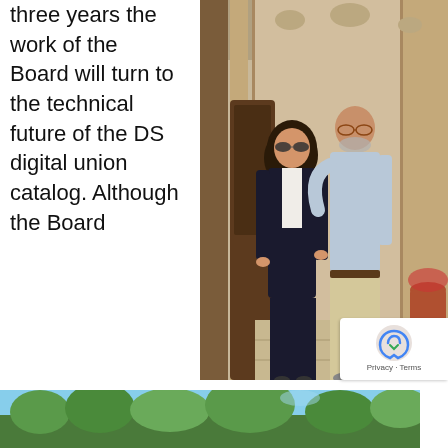three years the work of the Board will turn to the technical future of the DS digital union catalog. Although the Board
[Figure (photo): Two people standing together in front of an ornate stone building with decorative columns and carvings. A woman with curly hair wearing sunglasses and a dark blazer stands next to a taller bald man with glasses wearing a light blue shirt and khaki pants.]
[Figure (photo): Partial view of trees and outdoor scenery at the bottom of the page.]